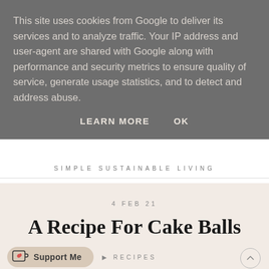This site uses cookies from Google to deliver its services and to analyze traffic. Your IP address and user-agent are shared with Google along with performance and security metrics to ensure quality of service, generate usage statistics, and to detect and address abuse.
LEARN MORE   OK
SIMPLE SUSTAINABLE LIVING
4 FEB 21
A Recipe For Cake Balls
Support Me   RECIPES